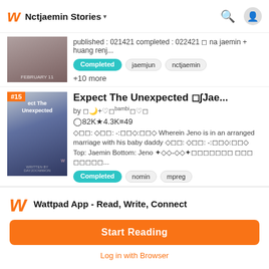Nctjaemin Stories
published : 021421 completed : 022421 ◻ na jaemin + huang renj...
Completed   jaemjun   nctjaemin
+10 more
Expect The Unexpected ◻∫Jae...
by ◻🌙+♡◻ᵇᵃᵐᵇⁱ◻♡◻
◉82K★4.3K≡49
◇◻◻: ◇◻◻: -:◻◻◇:◻◻◇ Wherein Jeno is in an arranged marriage with his baby daddy ◇◻◻: ◇◻◻: -:◻◻◇:◻◻◇ Top: Jaemin Bottom: Jeno ✦◇◇-◇◇✦◻◻◻◻◻◻◻ ◻◻◻ ◻◻◻◻◻...
Completed   nomin   mpreg
Wattpad App - Read, Write, Connect
Start Reading
Log in with Browser